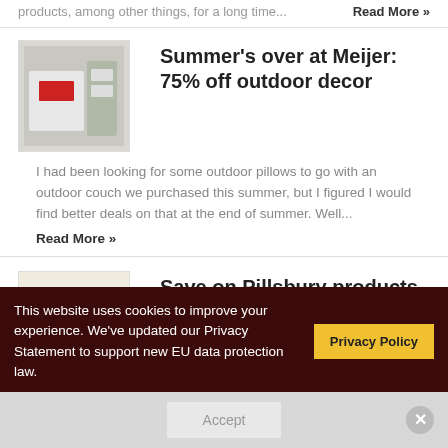products, among other things, for a long time...   Read More »
[Figure (photo): Photo of outdoor/store products with a red label visible]
Summer's over at Meijer: 75% off outdoor decor
I had been looking for some outdoor pillows to go with an outdoor couch we purchased this summer, but I figured I would find better deals on that at the end of summer. Well...
Read More »
[Figure (photo): Photo of cookies on a white plate]
Save on Pillsbury products with up to $150 in coupons
Would you like $150 worth of FREE coupons for printable Pillsbury products and other General Mills family brands? Like easy recipes for your family or household?  Read More »
This website uses cookies to improve your experience. We've updated our Privacy Statement to support new EU data protection law.
Privacy Policy
Accept